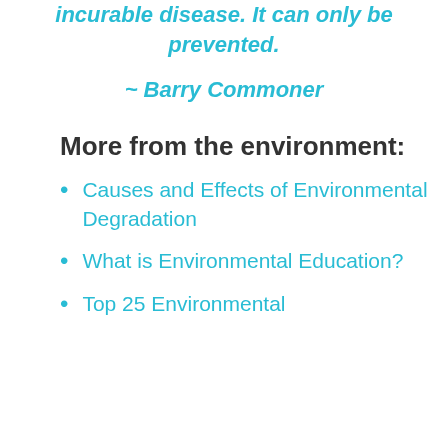incurable disease. It can only be prevented.
~ Barry Commoner
More from the environment:
Causes and Effects of Environmental Degradation
What is Environmental Education?
Top 25 Environmental